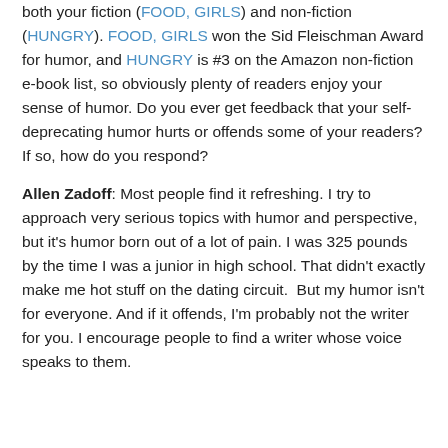both your fiction (FOOD, GIRLS) and non-fiction (HUNGRY). FOOD, GIRLS won the Sid Fleischman Award for humor, and HUNGRY is #3 on the Amazon non-fiction e-book list, so obviously plenty of readers enjoy your sense of humor. Do you ever get feedback that your self-deprecating humor hurts or offends some of your readers? If so, how do you respond?
Allen Zadoff: Most people find it refreshing. I try to approach very serious topics with humor and perspective, but it's humor born out of a lot of pain. I was 325 pounds by the time I was a junior in high school. That didn't exactly make me hot stuff on the dating circuit.  But my humor isn't for everyone. And if it offends, I'm probably not the writer for you. I encourage people to find a writer whose voice speaks to them.